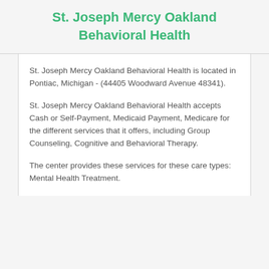St. Joseph Mercy Oakland Behavioral Health
St. Joseph Mercy Oakland Behavioral Health is located in Pontiac, Michigan - (44405 Woodward Avenue 48341).
St. Joseph Mercy Oakland Behavioral Health accepts Cash or Self-Payment, Medicaid Payment, Medicare for the different services that it offers, including Group Counseling, Cognitive and Behavioral Therapy.
The center provides these services for these care types: Mental Health Treatment.